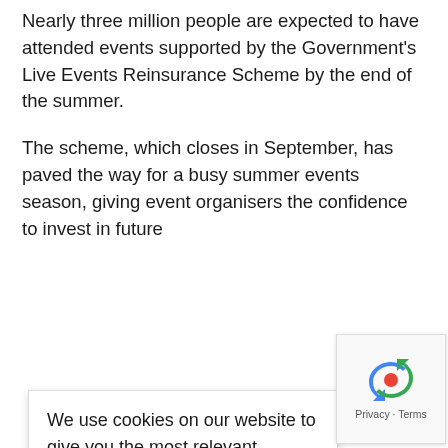Nearly three million people are expected to have attended events supported by the Government's Live Events Reinsurance Scheme by the end of the summer.
The scheme, which closes in September, has paved the way for a busy summer events season, giving event organisers the confidence to invest in future [insure... ated risk, economy.]
[...d ...ed products ...in the ...zley, Arch, ...Ark are ...ver £100]
We use cookies on our website to give you the most relevant experience by remembering your preferences and repeat visits. By clicking "Accept All", you consent to the use of ALL the cookies. However, you may visit "Cookie Settings" to provide a controlled consent.
Cookie Settings | Accept All